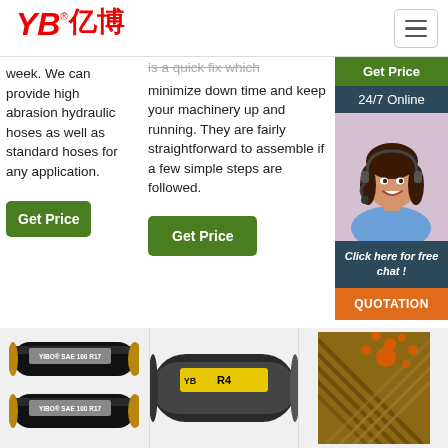YB亿博 [logo] with hamburger menu
week. We can provide high abrasion hydraulic hoses as well as standard hoses for any application.
Get Price
is a quick fix which minimize down time and keep your machinery up and running. They are fairly straightforward to assemble if a few simple steps are followed.
Get Price
Get Price
24/7 Online
[Figure (photo): Customer service agent woman with headset smiling]
Click here for free chat !
QUOTATION
[Figure (photo): YIBO SAE 100 R17 hydraulic hoses product images stacked]
[Figure (photo): R4 braided hydraulic hose with YB label]
[Figure (photo): Brown braided hose with orange dots overlay branding]